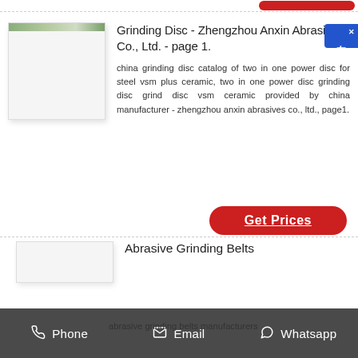[Figure (screenshot): Product listing page showing Grinding Disc from Zhengzhou Anxin Abrasives Co., Ltd. with a product image placeholder, description text, Get Prices button, and a partial second listing for Abrasive Grinding Belts, with a contact bar at the bottom showing Phone, Email, and Whatsapp options. A chat widget is visible in the top-right corner.]
Grinding Disc - Zhengzhou Anxin Abrasives Co., Ltd. - page 1.
china grinding disc catalog of two in one power disc for steel vsm plus ceramic, two in one power disc grinding disc grind disc vsm ceramic provided by china manufacturer - zhengzhou anxin abrasives co., ltd., page1.
Abrasive Grinding Belts
abrasive grinding belts manufacturers
Phone   Email   Whatsapp